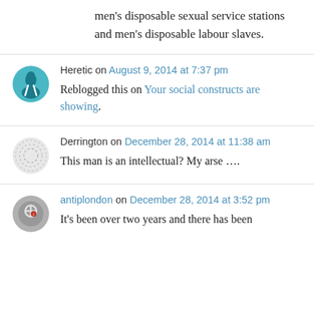men's disposable sexual service stations and men's disposable labour slaves.
Heretic on August 9, 2014 at 7:37 pm
Reblogged this on Your social constructs are showing.
Derrington on December 28, 2014 at 11:38 am
This man is an intellectual? My arse ….
antiplondon on December 28, 2014 at 3:52 pm
It's been over two years and there has been